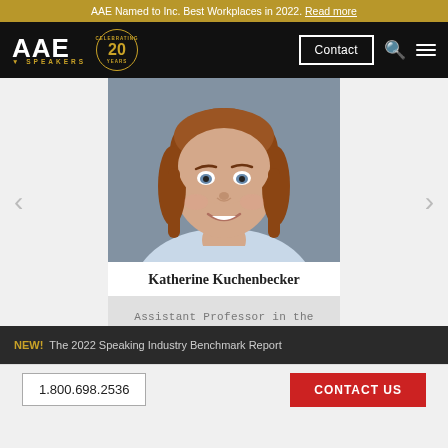AAE Named to Inc. Best Workplaces in 2022. Read more
[Figure (screenshot): AAE Speakers logo with 20 Years Celebrating badge, navigation bar with Contact button, search icon, and menu icon on black background]
[Figure (photo): Headshot photo of Katherine Kuchenbecker, a woman with straight reddish-brown hair and blue eyes, wearing a light blue turtleneck]
Katherine Kuchenbecker
Assistant Professor in the Mechanical Engineering and...
NEW! The 2022 Speaking Industry Benchmark Report
1.800.698.2536  CONTACT US